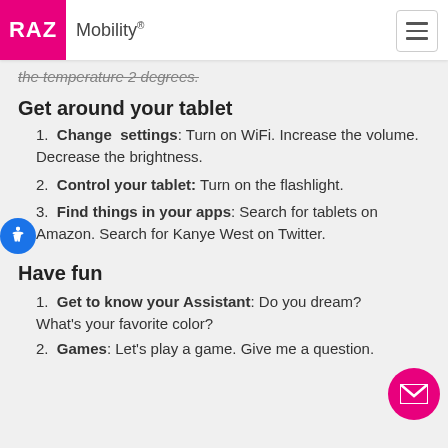RAZ Mobility®
the temperature 2 degrees.
Get around your tablet
Change settings: Turn on WiFi. Increase the volume. Decrease the brightness.
Control your tablet: Turn on the flashlight.
Find things in your apps: Search for tablets on Amazon. Search for Kanye West on Twitter.
Have fun
Get to know your Assistant: Do you dream? What's your favorite color?
Games: Let's play a game. Give me a question.